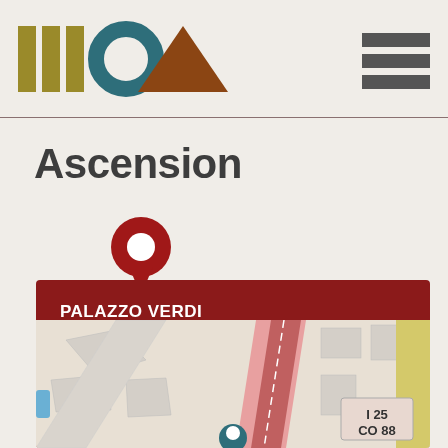[Figure (logo): MOA logo with gold vertical bars, teal circle, and brown triangle, plus hamburger menu icon]
Ascension
[Figure (illustration): Red map pin / location marker icon]
PALAZZO VERDI
6363 S Fiddlers Green Cir, Greenwood Village, CO 80111
[Figure (map): Street map showing area near I 25 / CO 88 in Greenwood Village, CO with a location pin]